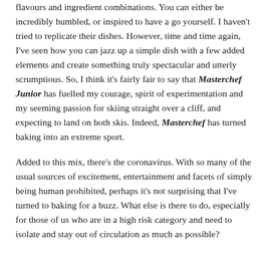flavours and ingredient combinations. You can either be incredibly humbled, or inspired to have a go yourself. I haven't tried to replicate their dishes. However, time and time again, I've seen how you can jazz up a simple dish with a few added elements and create something truly spectacular and utterly scrumptious. So, I think it's fairly fair to say that Masterchef Junior has fuelled my courage, spirit of experimentation and my seeming passion for skiing straight over a cliff, and expecting to land on both skis. Indeed, Masterchef has turned baking into an extreme sport.
Added to this mix, there's the coronavirus. With so many of the usual sources of excitement, entertainment and facets of simply being human prohibited, perhaps it's not surprising that I've turned to baking for a buzz. What else is there to do, especially for those of us who are in a high risk category and need to isolate and stay out of circulation as much as possible?